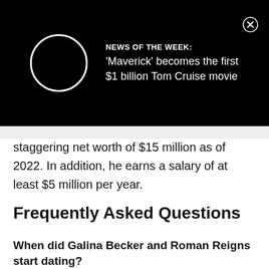[Figure (screenshot): Black notification banner with a white circle/loading spinner on the left and news text on the right: 'NEWS OF THE WEEK: Maverick becomes the first $1 billion Tom Cruise movie' with a close button (X) in the top right corner.]
staggering net worth of $15 million as of 2022. In addition, he earns a salary of at least $5 million per year.
Frequently Asked Questions
When did Galina Becker and Roman Reigns start dating?